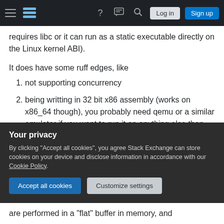Stack Exchange navigation bar with hamburger menu, logo, help, chat, search icons, Log in and Sign up buttons
requires libc or it can run as a static executable directly on the Linux kernel ABI).
It does have some ruff edges, like
1. not supporting concurrency
2. being writting in 32 bit x86 assembly (works on x86_64 though), you probably need qemu or a similar emulator if you want to run it on anything else than x86 or x86_64
3. it's powerful macro preprocessor language is
Your privacy — By clicking "Accept all cookies", you agree Stack Exchange can store cookies on your device and disclose information in accordance with our Cookie Policy.
are performed in a "flat" buffer in memory, and